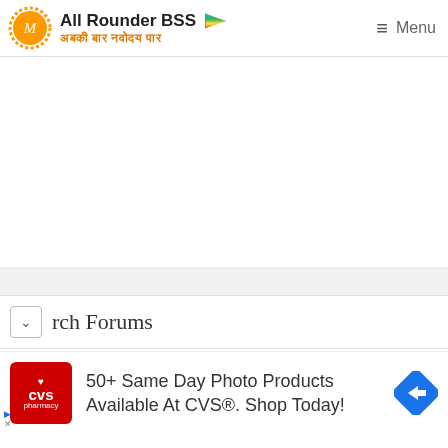All Rounder BSS — अबकी बार नवोदय पार — Menu
rch Forums
[Figure (infographic): CVS Pharmacy advertisement banner: red CVS pharmacy logo, text '50+ Same Day Photo Products Available At CVS®. Shop Today!', blue navigation arrow icon on right]